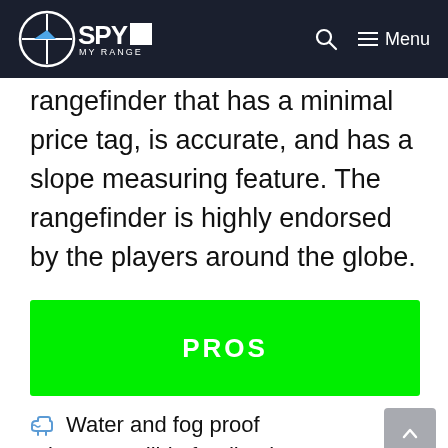SPY MY RANGE — site navigation header with logo, search icon, and menu
rangefinder that has a minimal price tag, is accurate, and has a slope measuring feature. The rangefinder is highly endorsed by the players around the globe.
PROS
Water and fog proof
Triggers audible feedback on